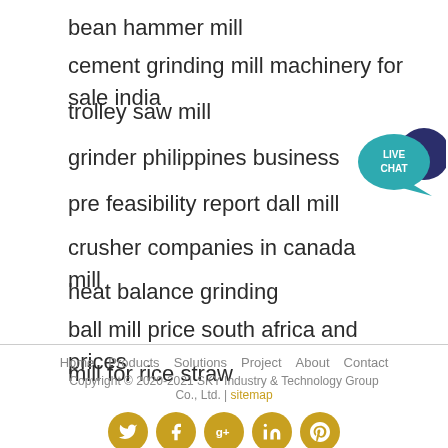bean hammer mill
cement grinding mill machinery for sale india
trolley saw mill
grinder philippines business
pre feasibility report dall mill
crusher companies in canada mill
heat balance grinding
ball mill price south africa and prices
mill for rice straw
[Figure (illustration): Live Chat speech bubble icon in teal/dark blue]
Home   Products   Solutions   Project   About   Contact
Copyright © 2020-2021 SKY Industry & Technology Group Co., Ltd. | sitemap
[Figure (illustration): Social media icons: Twitter, Facebook, Google+, LinkedIn, Pinterest — gold circles with white icons]